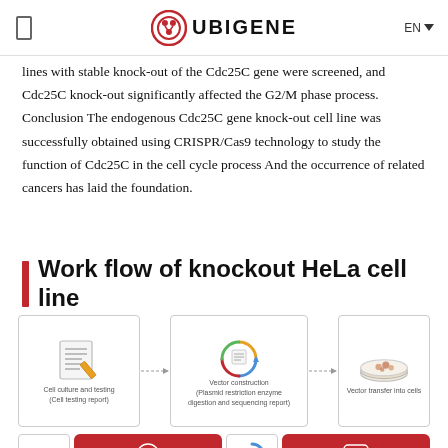UBIGENE
lines with stable knock-out of the Cdc25C gene were screened, and Cdc25C knock-out significantly affected the G2/M phase process. Conclusion The endogenous Cdc25C gene knock-out cell line was successfully obtained using CRISPR/Cas9 technology to study the function of Cdc25C in the cell cycle process And the occurrence of related cancers has laid the foundation.
Work flow of knockout HeLa cell line
[Figure (infographic): Workflow diagram showing three steps: Cell culture and testing (Cell testing report), Vector construction (Plasmid restriction enzyme digestion and sequencing report), Vector transfer into cells, connected by arrows.]
[Figure (infographic): Partial bottom row of workflow with call us and online Chat red buttons visible.]